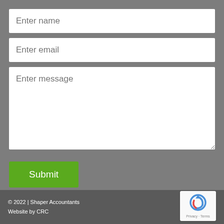Enter name
Enter email
Enter message
Submit
© 2022 | Shaper Accountants
Website by CRC
[Figure (logo): reCAPTCHA logo with Privacy - Terms text]